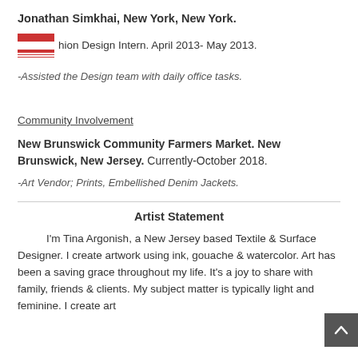Jonathan Simkhai, New York, New York.
Fashion Design Intern. April 2013- May 2013.
-Assisted the Design team with daily office tasks.
Community Involvement
New Brunswick Community Farmers Market. New Brunswick, New Jersey. Currently-October 2018.
-Art Vendor; Prints, Embellished Denim Jackets.
Artist Statement
I'm Tina Argonish, a New Jersey based Textile & Surface Designer. I create artwork using ink, gouache & watercolor. Art has been a saving grace throughout my life. It's a joy to share with family, friends & clients. My subject matter is typically light and feminine. I create art